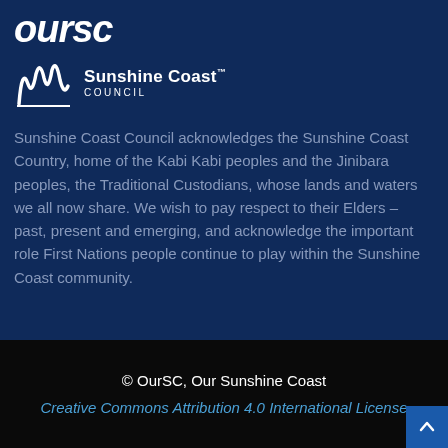[Figure (logo): OurSC logo in white italic bold text on dark blue background]
[Figure (logo): Sunshine Coast Council logo with waveform graphic and text]
Sunshine Coast Council acknowledges the Sunshine Coast Country, home of the Kabi Kabi peoples and the Jinibara peoples, the Traditional Custodians, whose lands and waters we all now share. We wish to pay respect to their Elders – past, present and emerging, and acknowledge the important role First Nations people continue to play within the Sunshine Coast community.
© OurSC, Our Sunshine Coast
Creative Commons Attribution 4.0 International License